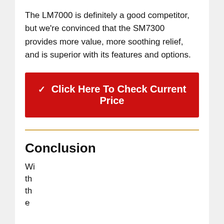The LM7000 is definitely a good competitor, but we're convinced that the SM7300 provides more value, more soothing relief, and is superior with its features and options.
✔ Click Here To Check Current Price
Conclusion
Wi th th e ex